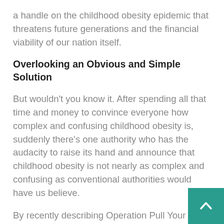a handle on the childhood obesity epidemic that threatens future generations and the financial viability of our nation itself.
Overlooking an Obvious and Simple Solution
But wouldn't you know it. After spending all that time and money to convince everyone how complex and confusing childhood obesity is, suddenly there's one authority who has the audacity to raise its hand and announce that childhood obesity is not nearly as complex and confusing as conventional authorities would have us believe.
By recently describing Operation Pull Your Own